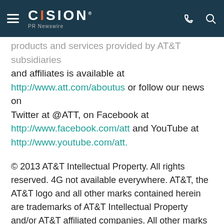CISION PR Newswire
products and services provided by AT&T subsidiaries and affiliates is available at http://www.att.com/aboutus or follow our news on Twitter at @ATT, on Facebook at http://www.facebook.com/att and YouTube at http://www.youtube.com/att.
© 2013 AT&T Intellectual Property. All rights reserved. 4G not available everywhere. AT&T, the AT&T logo and all other marks contained herein are trademarks of AT&T Intellectual Property and/or AT&T affiliated companies. All other marks contained herein are the property of their respective owners.